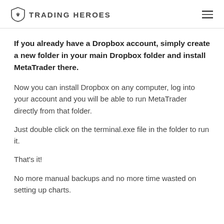TRADING HEROES
If you already have a Dropbox account, simply create a new folder in your main Dropbox folder and install MetaTrader there.
Now you can install Dropbox on any computer, log into your account and you will be able to run MetaTrader directly from that folder.
Just double click on the terminal.exe file in the folder to run it.
That's it!
No more manual backups and no more time wasted on setting up charts.